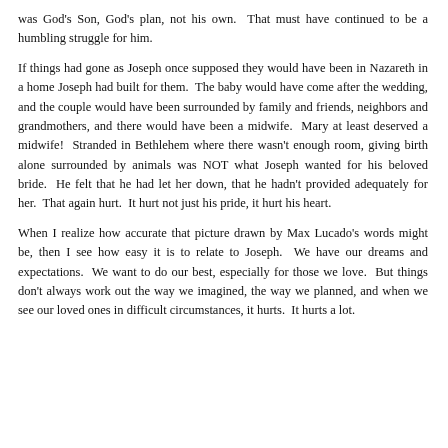was God's Son, God's plan, not his own.  That must have continued to be a humbling struggle for him.
If things had gone as Joseph once supposed they would have been in Nazareth in a home Joseph had built for them.  The baby would have come after the wedding, and the couple would have been surrounded by family and friends, neighbors and grandmothers, and there would have been a midwife.  Mary at least deserved a midwife!  Stranded in Bethlehem where there wasn't enough room, giving birth alone surrounded by animals was NOT what Joseph wanted for his beloved bride.  He felt that he had let her down, that he hadn't provided adequately for her.  That again hurt.  It hurt not just his pride, it hurt his heart.
When I realize how accurate that picture drawn by Max Lucado's words might be, then I see how easy it is to relate to Joseph.  We have our dreams and expectations.  We want to do our best, especially for those we love.  But things don't always work out the way we imagined, the way we planned, and when we see our loved ones in difficult circumstances, it hurts.  It hurts a lot.